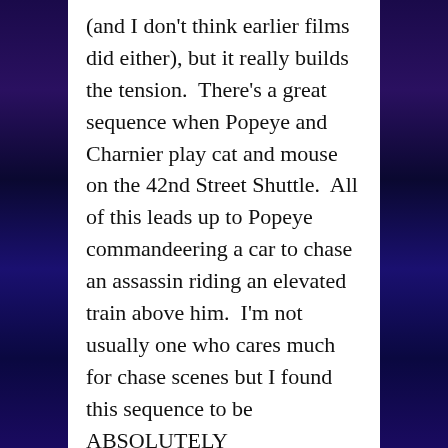(and I don't think earlier films did either), but it really builds the tension.  There's a great sequence when Popeye and Charnier play cat and mouse on the 42nd Street Shuttle.  All of this leads up to Popeye commandeering a car to chase an assassin riding an elevated train above him.  I'm not usually one who cares much for chase scenes but I found this sequence to be ABSOLUTELY EXHILARATING.
The French Connection is a New York City period piece and is shot on location in many recognizable spots in at least three of the five boroughs.  Unlike Taxi Driver or Midnight Cowboy (or even The Out-of-Towners), New York is not depicted as an unredeemable hell-hole but more of the New York I knew and loved as a child.  It's